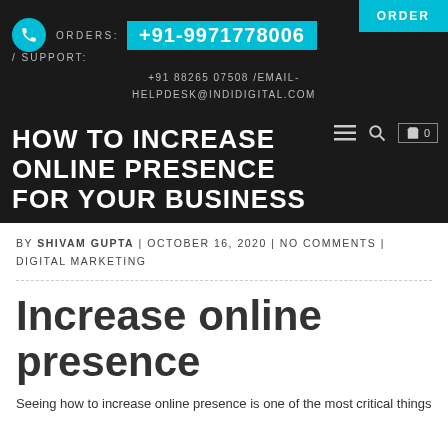ORDER
ORDERS: +91-9971778006 / SUPPORT: +91 88265 07508 /EMAIL- HELPDESK@INDIDIGITAL.COM
HOW TO INCREASE ONLINE PRESENCE FOR YOUR BUSINESS
BY SHIVAM GUPTA | OCTOBER 16, 2020 | NO COMMENTS | DIGITAL MARKETING
Increase online presence
Seeing how to increase online presence is one of the most critical things